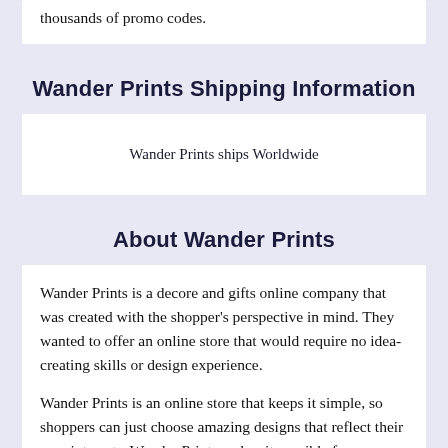thousands of promo codes.
Wander Prints Shipping Information
Wander Prints ships Worldwide
About Wander Prints
Wander Prints is a decore and gifts online company that was created with the shopper’s perspective in mind. They wanted to offer an online store that would require no idea-creating skills or design experience.
Wander Prints is an online store that keeps it simple, so shoppers can just choose amazing designs that reflect their own interests. Wander Prints makes it possible for shoppers to quickly and easily find exactly what they want from a